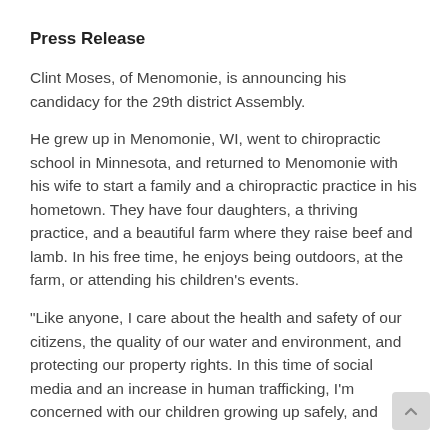Press Release
Clint Moses, of Menomonie, is announcing his candidacy for the 29th district Assembly.
He grew up in Menomonie, WI, went to chiropractic school in Minnesota, and returned to Menomonie with his wife to start a family and a chiropractic practice in his hometown. They have four daughters, a thriving practice, and a beautiful farm where they raise beef and lamb. In his free time, he enjoys being outdoors, at the farm, or attending his children's events.
“Like anyone, I care about the health and safety of our citizens, the quality of our water and environment, and protecting our property rights. In this time of social media and an increase in human trafficking, I’m concerned with our children growing up safely, and